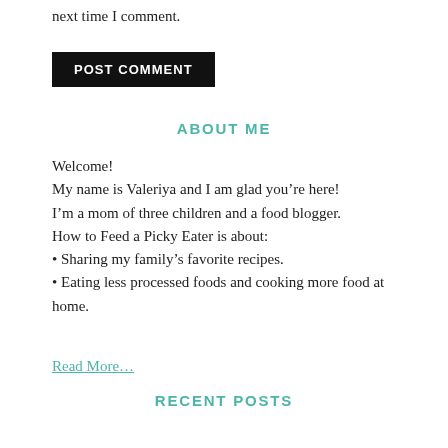next time I comment.
POST COMMENT
ABOUT ME
Welcome!
My name is Valeriya and I am glad you’re here!
I’m a mom of three children and a food blogger.
How to Feed a Picky Eater is about:
• Sharing my family’s favorite recipes.
• Eating less processed foods and cooking more food at home.
Read More…
RECENT POSTS
BBQ Chicken Legs Recipe
Cheese Stuffed Mashed Potato Balls
Meat Stuffed with Potatoes